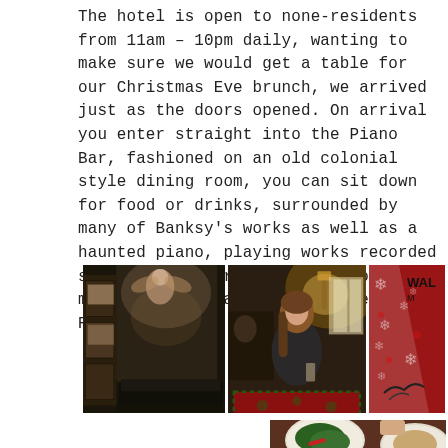The hotel is open to none-residents from 11am – 10pm daily, wanting to make sure we would get a table for our Christmas Eve brunch, we arrived just as the doors opened. On arrival you enter straight into the Piano Bar, fashioned on an old colonial style dining room, you can sit down for food or drinks, surrounded by many of Banksy's works as well as a haunted piano, playing works recorded specifically for the hotel from musicians such as Flea and Trent Reznor.
[Figure (photo): Three photos in a row: left shows a dimly lit bar interior with ornate mural artwork featuring cherub figures; center shows a woman sitting at a table with Christmas tablecloth in a warmly lit restaurant; right shows a partial view of a red and white Christmas-patterned item with text 'WAL' visible.]
[Figure (photo): Partial bottom photo showing food dishes on a table, appears to be brunch food items.]